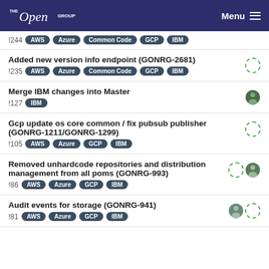The Open Group | Menu
!244  AWS  Azure  Common Code  GCP  IBM
Added new version info endpoint (GONRG-2681)
!235  AWS  Azure  Common Code  GCP  IBM
Merge IBM changes into Master
!127  IBM
Gcp update os core common / fix pubsub publisher (GONRG-1211/GONRG-1299)
!105  AWS  Azure  GCP  IBM
Removed unhardcode repositories and distribution management from all poms (GONRG-993)
!86  AWS  Azure  GCP  IBM
Audit events for storage (GONRG-941)
!81  AWS  Azure  GCP  IBM